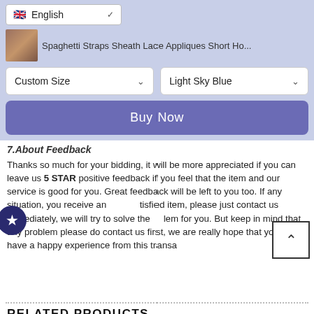[Figure (screenshot): Language selector dropdown showing English with UK flag icon]
Spaghetti Straps Sheath Lace Appliques Short Ho...
[Figure (screenshot): Custom Size dropdown selector]
[Figure (screenshot): Light Sky Blue dropdown selector]
[Figure (screenshot): Buy Now button in purple/blue]
7.About Feedback
Thanks so much for your bidding, it will be more appreciated if you can leave us 5 STAR positive feedback if you feel that the item and our service is good for you. Great feedback will be left to you too. If any situation, you receive an unsatisfied item, please just contact us immediately, we will try to solve the problem for you. But keep in mind that any problem please do contact us first, we are really hope that you can have a happy experience from this transa
RELATED PRODUCTS
[Figure (photo): Two small product thumbnail photos of dresses in warm golden tones]
[Figure (photo): One product thumbnail photo of a dress in light/grey tones]